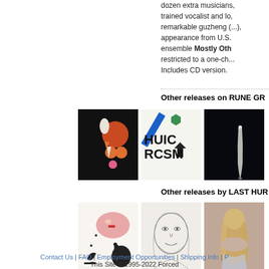dozen extra musicians, trained vocalist and lo, remarkable guzheng (...), appearance from U.S. ensemble Mostly Oth... restricted to a one-ch... Includes CD version.
Other releases on RUNE GR...
[Figure (photo): Album cover: black background with abstract shapes - orange and white circles, orange triangles on black]
[Figure (photo): Album cover: white background with bold stylized text HUIC RCSM and geometric shapes]
[Figure (photo): Album cover: dark background with white glowing elongated shape]
Other releases by LAST HUR...
[Figure (photo): Album cover: white background with abstract illustration of face/cat figures in pink, black, green]
[Figure (photo): Album cover: pencil sketch portrait of a person's face]
[Figure (photo): Album cover: photo of person with long blonde hair viewed from behind]
Contact Us | FAQ | Employment Opportunities | Shipping Info | P... This Site © 1995-2022 Forced...